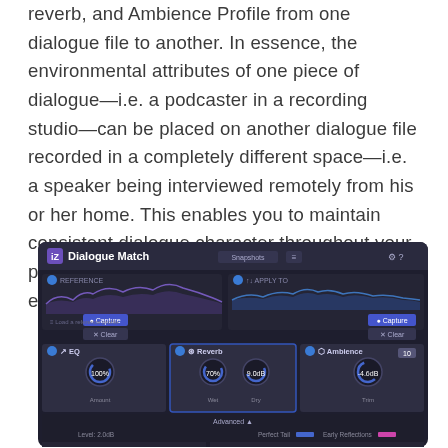reverb, and Ambience Profile from one dialogue file to another. In essence, the environmental attributes of one piece of dialogue—i.e. a podcaster in a recording studio—can be placed on another dialogue file recorded in a completely different space—i.e. a speaker being interviewed remotely from his or her home. This enables you to maintain consistent dialogue character throughout your production, yielding a more seamless listening experience.
[Figure (screenshot): Screenshot of the Dialogue Match plugin interface showing Reference and Apply To sections with EQ, Reverb, and Ambience modules. EQ shows Amount knob at 100%, Reverb shows Wet and Dry knobs at 70% and 9.0dB, Ambience shows Trim at -4.6dB. Advanced section expanded below showing Level: 2.0dB, Perfect Tail and Early Reflections options.]